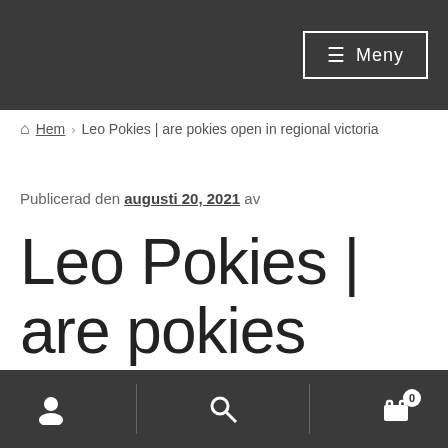☰ Meny
🏠 Hem › Leo Pokies | are pokies open in regional victoria
Publicerad den augusti 20, 2021 av
Leo Pokies | are pokies open in regional victoria
[user icon] [search icon] [cart icon] 0